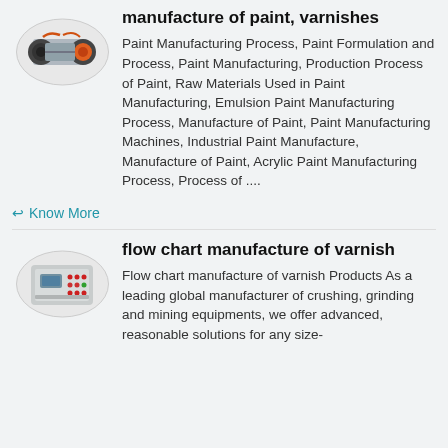[Figure (photo): Industrial machine shown in oval/ellipse frame - orange and black wheeled machinery on a white background]
manufacture of paint, varnishes
Paint Manufacturing Process, Paint Formulation and Process, Paint Manufacturing, Production Process of Paint, Raw Materials Used in Paint Manufacturing, Emulsion Paint Manufacturing Process, Manufacture of Paint, Paint Manufacturing Machines, Industrial Paint Manufacture, Manufacture of Paint, Acrylic Paint Manufacturing Process, Process of ....
Know More
[Figure (photo): Industrial control panel machine shown in oval/ellipse frame - grey box with buttons and display screen]
flow chart manufacture of varnish
Flow chart manufacture of varnish Products As a leading global manufacturer of crushing, grinding and mining equipments, we offer advanced, reasonable solutions for any size-